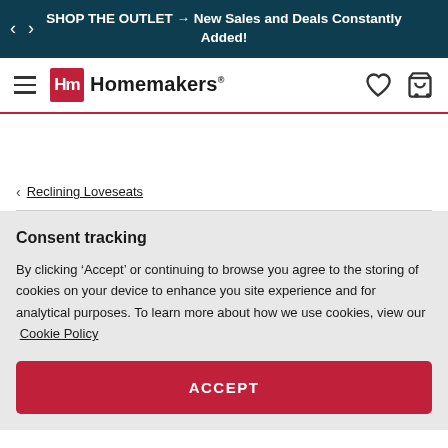SHOP THE OUTLET → New Sales and Deals Constantly Added!
[Figure (logo): Homemakers furniture store logo with hamburger menu, Hm logo mark, heart icon and shopping cart icon]
< Reclining Loveseats
Consent tracking
By clicking 'Accept' or continuing to browse you agree to the storing of cookies on your device to enhance you site experience and for analytical purposes. To learn more about how we use cookies, view our Cookie Policy
ACCEPT